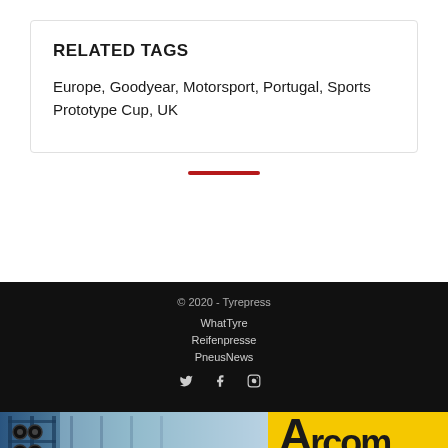RELATED TAGS
Europe, Goodyear, Motorsport, Portugal, Sports Prototype Cup, UK
© 2020 - Tyrepress
WhatTyre
Reifenpresse
PneusNews
[Figure (logo): Arcom logo on yellow background with tyre warehouse photo]
[Figure (photo): Tyre warehouse shelving with stacked tyres]